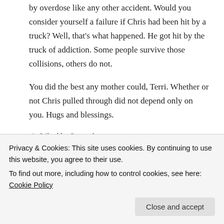by overdose like any other accident. Would you consider yourself a failure if Chris had been hit by a truck? Well, that's what happened. He got hit by the truck of addiction. Some people survive those collisions, others do not.
You did the best any mother could, Terri. Whether or not Chris pulled through did not depend only on you. Hugs and blessings.
★ Liked by 2 people
Reply
you.
Privacy & Cookies: This site uses cookies. By continuing to use this website, you agree to their use.
To find out more, including how to control cookies, see here: Cookie Policy